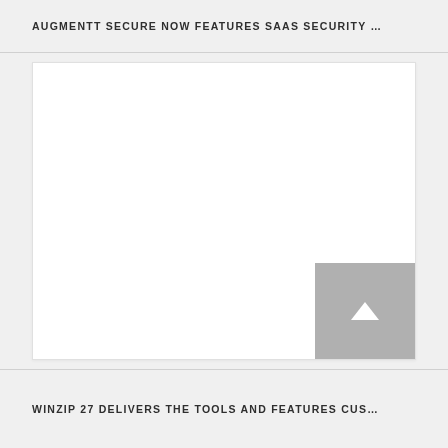AUGMENTT SECURE NOW FEATURES SAAS SECURITY …
[Figure (other): Large white rectangular content/image area with a grey back-to-top button in the bottom-right corner containing an upward-pointing arrow]
WINZIP 27 DELIVERS THE TOOLS AND FEATURES CUS…